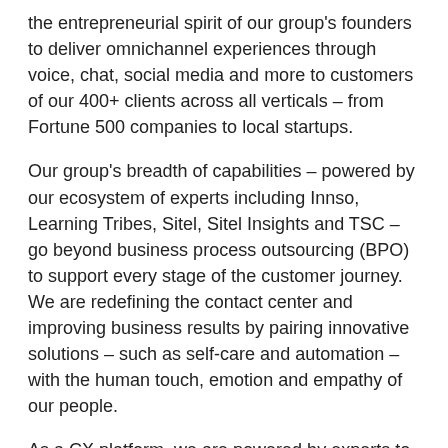the entrepreneurial spirit of our group's founders to deliver omnichannel experiences through voice, chat, social media and more to customers of our 400+ clients across all verticals – from Fortune 500 companies to local startups.
Our group's breadth of capabilities – powered by our ecosystem of experts including Innso, Learning Tribes, Sitel, Sitel Insights and TSC – go beyond business process outsourcing (BPO) to support every stage of the customer journey. We are redefining the contact center and improving business results by pairing innovative solutions – such as self-care and automation – with the human touch, emotion and empathy of our people.
As a CX platform, we are powered by experts to deliver tailored CX solutions to fit our clients' needs through our consultative, customer-centric approach adding value at every touchpoint – regardless of location, channel or time of day.
Learn more at www.sitel.com and connect with us on Facebook